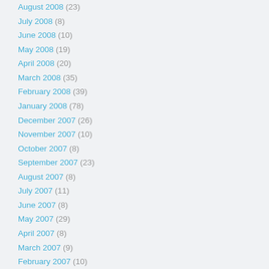August 2008 (23)
July 2008 (8)
June 2008 (10)
May 2008 (19)
April 2008 (20)
March 2008 (35)
February 2008 (39)
January 2008 (78)
December 2007 (26)
November 2007 (10)
October 2007 (8)
September 2007 (23)
August 2007 (8)
July 2007 (11)
June 2007 (8)
May 2007 (29)
April 2007 (8)
March 2007 (9)
February 2007 (10)
January 2007 (21)
December 2006 (16)
November 2006 (46)
October 2006 (54)
September 2006 (42)